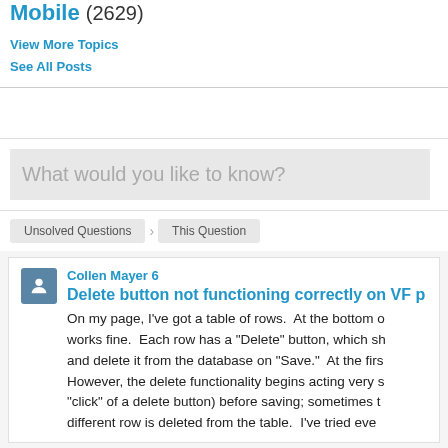Mobile (2629)
View More Topics
See All Posts
What would you like to know?
Unsolved Questions > This Question
Collen Mayer 6
Delete button not functioning correctly on VF p
On my page, I've got a table of rows.  At the bottom o works fine.  Each row has a "Delete" button, which sh and delete it from the database on "Save."  At the firs However, the delete functionality begins acting very s "click" of a delete button) before saving; sometimes t different row is deleted from the table.  I've tried eve